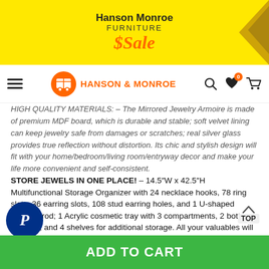[Figure (logo): Hanson Monroe Furniture Sale yellow banner with orange sale text and arrow decoration]
Hanson & Monroe navigation bar with hamburger menu, logo, search, wishlist and cart icons
HIGH QUALITY MATERIALS: – The Mirrored Jewelry Armoire is made of premium MDF board, which is durable and stable; soft velvet lining can keep jewelry safe from damages or scratches; real silver glass provides true reflection without distortion. Its chic and stylish design will fit with your home/bedroom/living room/entryway decor and make your life more convenient and self-consistent. STORE JEWELS IN ONE PLACE! – 14.5"W x 42.5"H Multifunctional Storage Organizer with 24 necklace hooks, 78 ring slots, 36 earring slots, 108 stud earring holes, and 1 U-shaped bracelet rod; 1 Acrylic cosmetic tray with 3 compartments, 2 bottom drawers, and 4 shelves for additional storage. All your valuables will be well organized, instead of getting messy. CHECK OUTFIT IN THE MIRROR! – Full screen, full length, mirrored. You'll be able to have a head-to-toe view, and convenient...
[Figure (logo): PayPal circular blue button with white italic P]
ADD TO CART